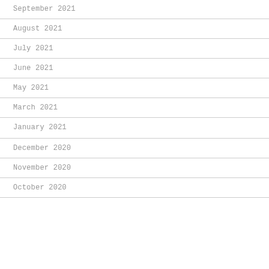September 2021
August 2021
July 2021
June 2021
May 2021
March 2021
January 2021
December 2020
November 2020
October 2020